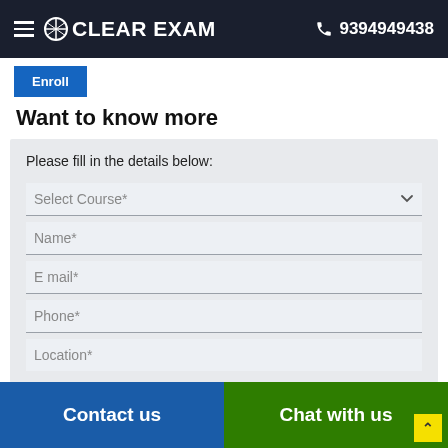CLEAR EXAM  9394949438
[Figure (screenshot): Blue button partially visible at top left, likely a navigation/back button]
Want to know more
Please fill in the details below:
Select Course*
Name*
E mail*
Phone*
Location*
Contact us   Chat with us